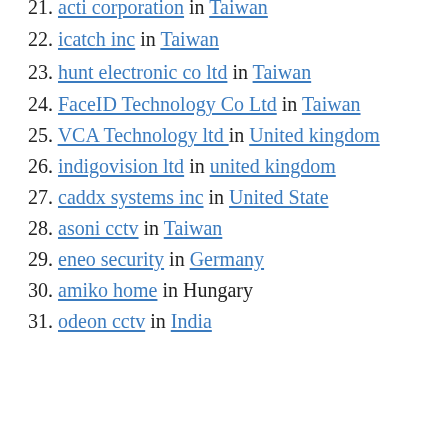21. acti corporation in Taiwan
22. icatch inc in Taiwan
23. hunt electronic co ltd in Taiwan
24. FaceID Technology Co Ltd in Taiwan
25. VCA Technology ltd in United kingdom
26. indigovision ltd in united kingdom
27. caddx systems inc in United State
28. asoni cctv in Taiwan
29. eneo security in Germany
30. amiko home in Hungary
31. odeon cctv in India